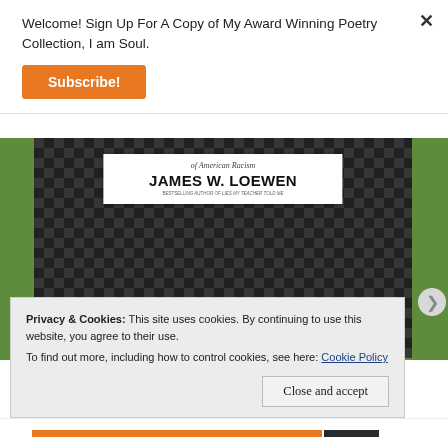Welcome! Sign Up For A Copy of My Award Winning Poetry Collection, I am Soul.
Subscribe!
[Figure (photo): Book cover of a James W. Loewen book about American Racism, held in front of green grass. The cover shows an aerial view of a suburban neighborhood.]
Privacy & Cookies: This site uses cookies. By continuing to use this website, you agree to their use.
To find out more, including how to control cookies, see here: Cookie Policy
Close and accept